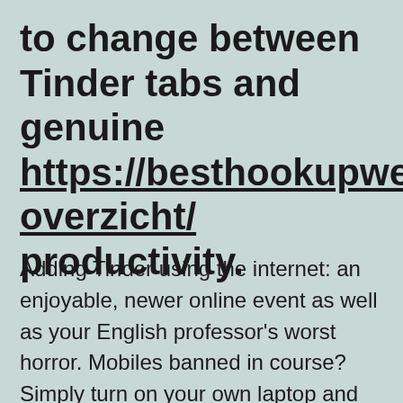to change between Tinder tabs and genuine https://besthookupwebsites overzicht/ productivity.
Adding Tinder using the internet: an enjoyable, newer online event as well as your English professor's worst horror. Mobiles banned in course? Simply turn on your own laptop and swipe incognito. Cubicle lifetime had gotten you all the way down? You can now toggle between spreadsheets and Super loves in a